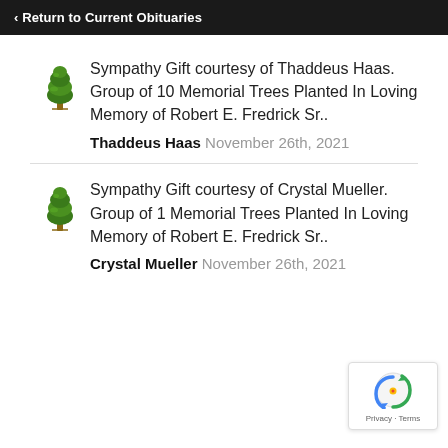‹ Return to Current Obituaries
Sympathy Gift courtesy of Thaddeus Haas. Group of 10 Memorial Trees Planted In Loving Memory of Robert E. Fredrick Sr..
Thaddeus Haas November 26th, 2021
Sympathy Gift courtesy of Crystal Mueller. Group of 1 Memorial Trees Planted In Loving Memory of Robert E. Fredrick Sr..
Crystal Mueller November 26th, 2021